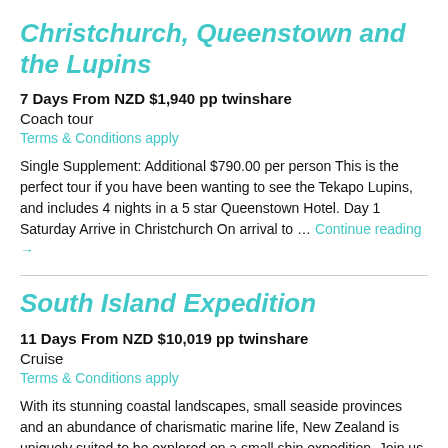Christchurch, Queenstown and the Lupins
7 Days From NZD $1,940 pp twinshare
Coach tour
Terms & Conditions apply
Single Supplement: Additional $790.00 per person This is the perfect tour if you have been wanting to see the Tekapo Lupins, and includes 4 nights in a 5 star Queenstown Hotel. Day 1 Saturday Arrive in Christchurch On arrival to … Continue reading →
South Island Expedition
11 Days From NZD $10,019 pp twinshare
Cruise
Terms & Conditions apply
With its stunning coastal landscapes, small seaside provinces and an abundance of charismatic marine life, New Zealand is uniquely suited to be explored on a small ship expedition. Join us aboard Coral